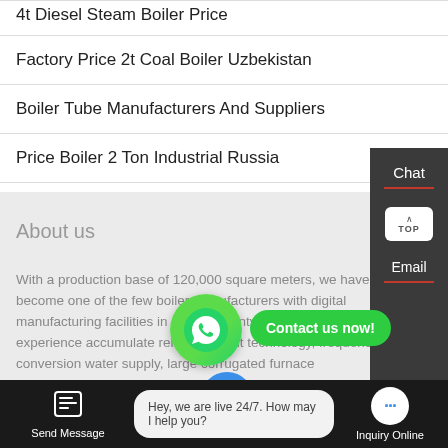4t Diesel Steam Boiler Price
Factory Price 2t Coal Boiler Uzbekistan
Boiler Tube Manufacturers And Suppliers
Price Boiler 2 Ton Industrial Russia
About us
With a production base of 120,000 square meters, we have become one of the few boiler manufacturers with digital manufacturing facilities in China. Twenty years of industry experience accumulate reliable patent technology, frequency conversion water supply, large corrugated furnace manufacturing, fully intelligent PLC ...ust... etc.